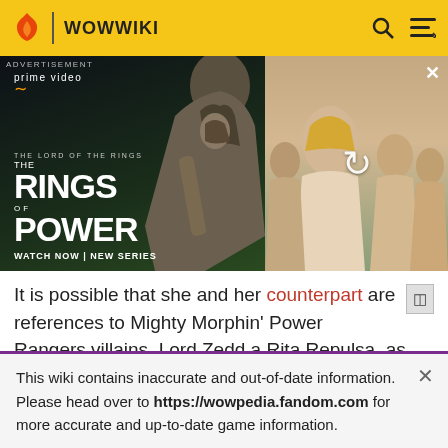WOWWIKI
[Figure (photo): Amazon Prime Video advertisement for 'The Lord of the Rings: The Rings of Power' new series. Left side shows title text and 'WATCH NOW | NEW SERIES' on dark background. Right side shows blurred figures from the show.]
It is possible that she and her counterpart are references to Mighty Morphin' Power Rangers villains, Lord Zedd a Rita Repulsa, as they bicker continually and are voiced in a similar manner.
This wiki contains inaccurate and out-of-date information. Please head over to https://wowpedia.fandom.com for more accurate and up-to-date game information.